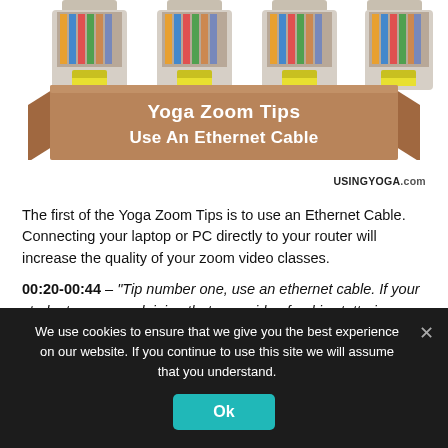[Figure (illustration): Four ethernet cable RJ45 plugs arranged in a row above a brown ribbon banner. Banner text reads 'Yoga Zoom Tips Use An Ethernet Cable'. Below right is USINGYOGA.com branding.]
The first of the Yoga Zoom Tips is to use an Ethernet Cable. Connecting your laptop or PC directly to your router will increase the quality of your zoom video classes.
00:20-00:44 – "Tip number one, use an ethernet cable. If your students are complaining that your video feed is stuttering or choppy, it might be because of your wifi connection.
We use cookies to ensure that we give you the best experience on our website. If you continue to use this site we will assume that you understand.